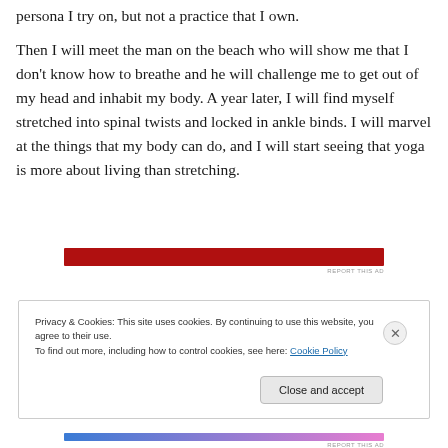persona I try on, but not a practice that I own.
Then I will meet the man on the beach who will show me that I don't know how to breathe and he will challenge me to get out of my head and inhabit my body. A year later, I will find myself stretched into spinal twists and locked in ankle binds. I will marvel at the things that my body can do, and I will start seeing that yoga is more about living than stretching.
[Figure (other): Red advertisement banner with 'REPORT THIS AD' text below it]
Privacy & Cookies: This site uses cookies. By continuing to use this website, you agree to their use.
To find out more, including how to control cookies, see here: Cookie Policy
[Figure (other): Bottom gradient advertisement bar (blue to pink) with 'REPORT THIS AD' text]